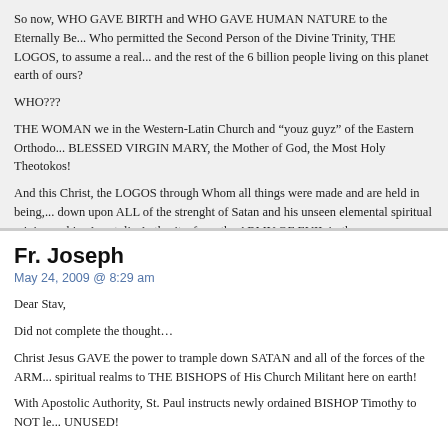So now, WHO GAVE BIRTH and WHO GAVE HUMAN NATURE to the Eternally Be... Who permitted the Second Person of the Divine Trinity, THE LOGOS, to assume a real... and the rest of the 6 billion people living on this planet earth of ours?
WHO???
THE WOMAN we in the Western-Latin Church and “youz guyz” of the Eastern Orthodo... BLESSED VIRGIN MARY, the Mother of God, the Most Holy Theotokos!
And this Christ, the LOGOS through Whom all things were made and are held in being,... down upon ALL of the strenght of Satan and his unseen elemental spiritual minions whi... Apostolic Authority, form the ARMY OF EVIL in the unseen realms!
- Fr. Joseph
Fr. Joseph
May 24, 2009 @ 8:29 am
Dear Stav,
Did not complete the thought…
Christ Jesus GAVE the power to trample down SATAN and all of the forces of the ARM... spiritual realms to THE BISHOPS of His Church Militant here on earth!
With Apostolic Authority, St. Paul instructs newly ordained BISHOP Timothy to NOT le... UNUSED!